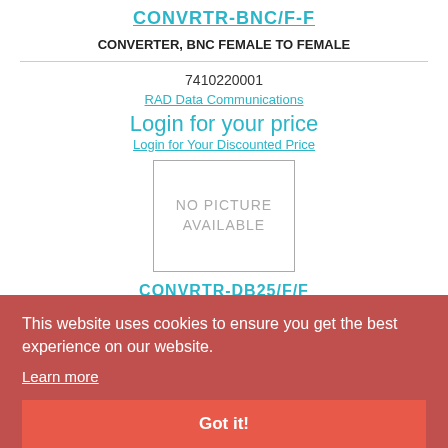CONVRTR-BNC/F-F
CONVERTER, BNC FEMALE TO FEMALE
7410220001
RAD Data Communications
Login for your price
Login for Your Discounted Price
[Figure (other): NO PICTURE AVAILABLE placeholder box]
CONVRTR-DB25/F/F
CHANGE MALE DB25 TO FEMALE
7410340001
RAD Data Communications
Login for your price
This website uses cookies to ensure you get the best experience on our website.
Learn more
Got it!